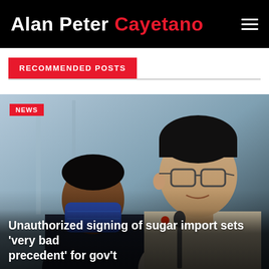Alan Peter Cayetano
RECOMMENDED POSTS
[Figure (photo): Two men at a press conference or hearing. On the right, a man in glasses wearing a barong tagalog speaks into a microphone. On the left, a man wearing a dark suit and blue face mask is partially visible in the background. The setting appears to be an official government chamber or meeting room.]
Unauthorized signing of sugar import sets 'very bad precedent' for gov't